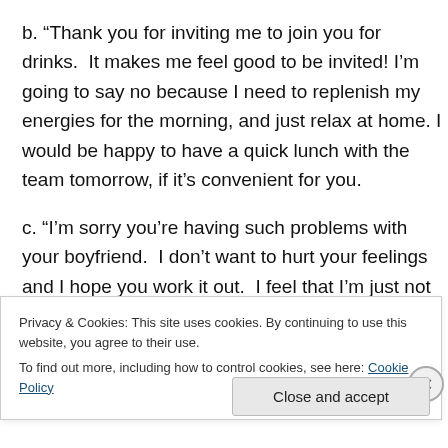b. “Thank you for inviting me to join you for drinks.  It makes me feel good to be invited! I’m going to say no because I need to replenish my energies for the morning, and just relax at home. I would be happy to have a quick lunch with the team tomorrow, if it’s convenient for you.
c. “I’m sorry you’re having such problems with your boyfriend.  I don’t want to hurt your feelings and I hope you work it out.  I feel that I’m just not the right person on this subject.  I’m very excited [text continues below]
Privacy & Cookies: This site uses cookies. By continuing to use this website, you agree to their use.
To find out more, including how to control cookies, see here: Cookie Policy
Close and accept